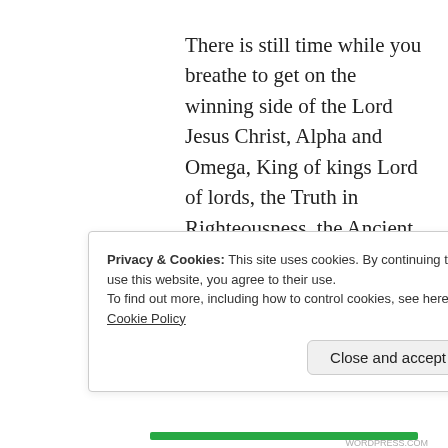There is still time while you breathe to get on the winning side of the Lord Jesus Christ, Alpha and Omega, King of kings Lord of lords, the Truth in Righteousness, the Ancient of Days, the Door of the Sheep.
★ Like
Privacy & Cookies: This site uses cookies. By continuing to use this website, you agree to their use.
To find out more, including how to control cookies, see here: Cookie Policy
Close and accept